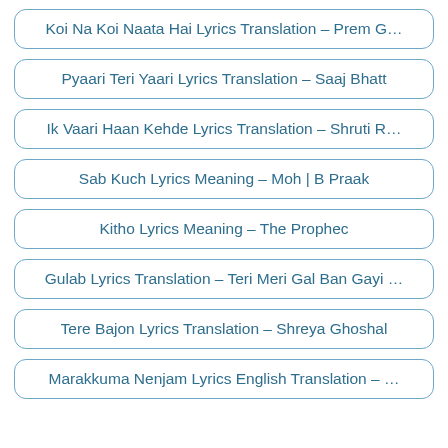Koi Na Koi Naata Hai Lyrics Translation – Prem G…
Pyaari Teri Yaari Lyrics Translation – Saaj Bhatt
Ik Vaari Haan Kehde Lyrics Translation – Shruti R…
Sab Kuch Lyrics Meaning – Moh | B Praak
Kitho Lyrics Meaning – The Prophec
Gulab Lyrics Translation – Teri Meri Gal Ban Gayi …
Tere Bajon Lyrics Translation – Shreya Ghoshal
Marakkuma Nenjam Lyrics English Translation – …